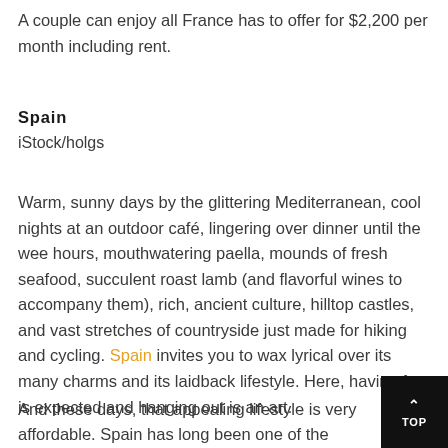A couple can enjoy all France has to offer for $2,200 per month including rent.
Spain
iStock/holgs
Warm, sunny days by the glittering Mediterranean, cool nights at an outdoor café, lingering over dinner until the wee hours, mouthwatering paella, mounds of fresh seafood, succulent roast lamb (and flavorful wines to accompany them), rich, ancient culture, hilltop castles, and vast stretches of countryside just made for hiking and cycling. Spain invites you to wax lyrical over its many charms and its laidback lifestyle. Here, having fun is expected and hanging out is an art.
And these days, that appealing lifestyle is very affordable. Spain has long been one of the